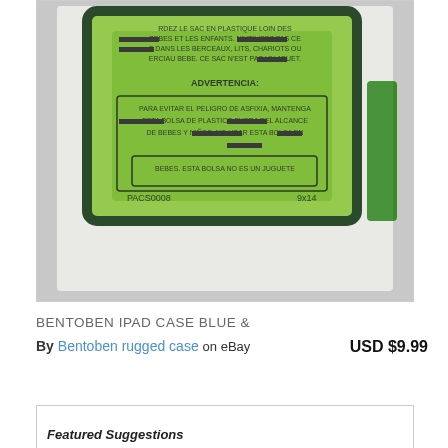[Figure (photo): Photo of a green iPad case (Bentoben rugged case) still in its plastic packaging bag. The plastic bag shows multilingual choking hazard warnings in French and Spanish. Visible text includes 'ADVERTENCIA:' and Spanish warning text about keeping plastic bag away from babies/children. Bottom of bag shows 'PACS0008' and '9x14'.]
BENTOBEN IPAD CASE BLUE &
By Bentoben rugged case on eBay    USD $9.99